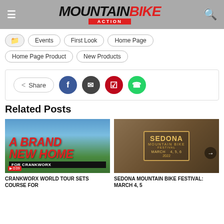Mountain Bike Action
Events
First Look
Home Page
Home Page Product
New Products
Share
Related Posts
[Figure (photo): A Brand New Home for Crankworx promotional image with tropical background]
CRANKWORX WORLD TOUR SETS COURSE FOR
[Figure (photo): Sedona Mountain Bike Festival March 4, 5, 6 2022 badge/logo on crowd background]
SEDONA MOUNTAIN BIKE FESTIVAL: MARCH 4, 5